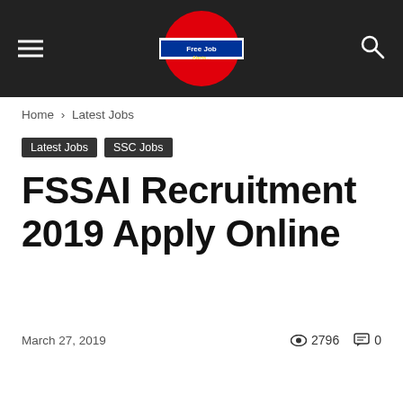[Figure (logo): Free Job Alerts website logo with London Underground style red circle and bar design]
Home › Latest Jobs
Latest Jobs   SSC Jobs
FSSAI Recruitment 2019 Apply Online
March 27, 2019   2796   0